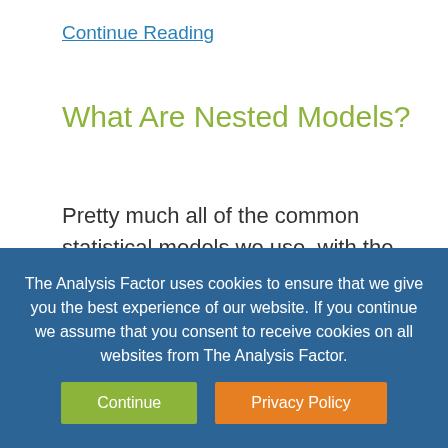Continue Reading
What Are Nested Models?
Pretty much all of the common statistical models we use, with the exception of OLS Linear Models, use Maximum Likelihood estimation. This includes … Continue Reading
Member Training: The LASSO
The Analysis Factor uses cookies to ensure that we give you the best experience of our website. If you continue we assume that you consent to receive cookies on all websites from The Analysis Factor.
Continue | Privacy Policy